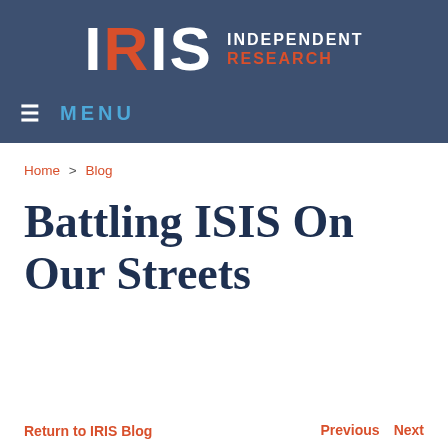[Figure (logo): IRIS Independent Research logo with white and orange lettering on dark blue background, and hamburger menu with MENU label]
Home > Blog
Battling ISIS On Our Streets
Return to IRIS Blog    Previous    Next